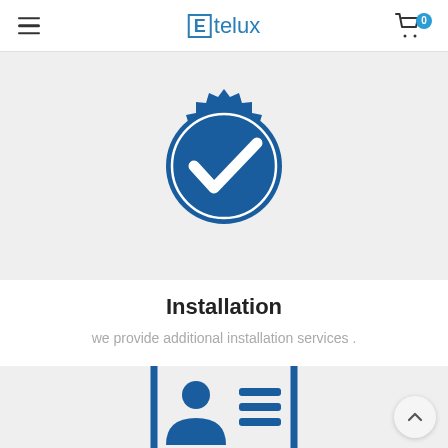Etelux
[Figure (illustration): Blue badge/seal icon with a white checkmark in the center, on a light gray background]
Installation
we provide additional installation services .
[Figure (illustration): Blue ID card / badge icon with a person silhouette and horizontal lines representing text, on a light gray background]